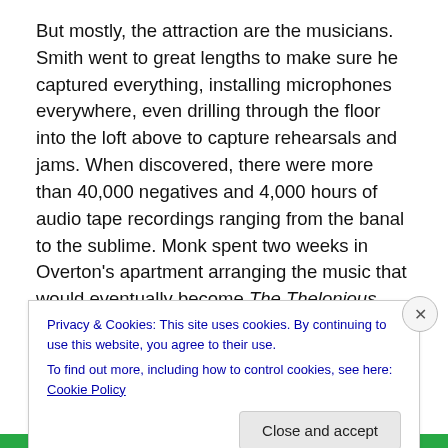But mostly, the attraction are the musicians. Smith went to great lengths to make sure he captured everything, installing microphones everywhere, even drilling through the floor into the loft above to capture rehearsals and jams. When discovered, there were more than 40,000 negatives and 4,000 hours of audio tape recordings ranging from the banal to the sublime. Monk spent two weeks in Overton's apartment arranging the music that would eventually become The Thelonious Monk Orchestra Live at Town Hall, one of the most iconic works of the jazz legend's career.
Privacy & Cookies: This site uses cookies. By continuing to use this website, you agree to their use.
To find out more, including how to control cookies, see here: Cookie Policy